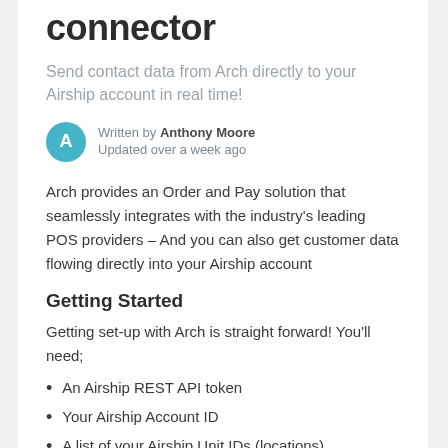connector
Send contact data from Arch directly to your Airship account in real time!
Written by Anthony Moore
Updated over a week ago
Arch provides an Order and Pay solution that seamlessly integrates with the industry's leading POS providers – And you can also get customer data flowing directly into your Airship account
Getting Started
Getting set-up with Arch is straight forward! You'll need;
An Airship REST API token
Your Airship Account ID
A list of your Airship Unit IDs (locations)